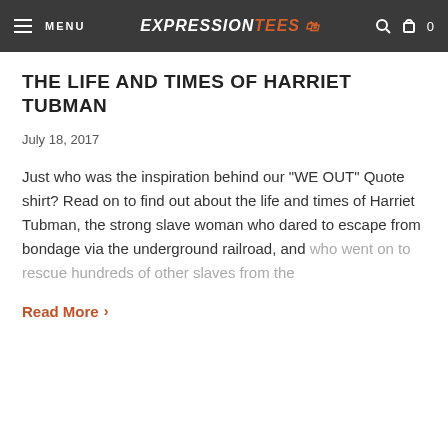MENU | EXPRESSION TEES | search cart 0
THE LIFE AND TIMES OF HARRIET TUBMAN
July 18, 2017
Just who was the inspiration behind our "WE OUT" Quote shirt? Read on to find out about the life and times of Harriet Tubman, the strong slave woman who dared to escape from bondage via the underground railroad, and who went on to rescue hundreds of other slaves from the
Read More >